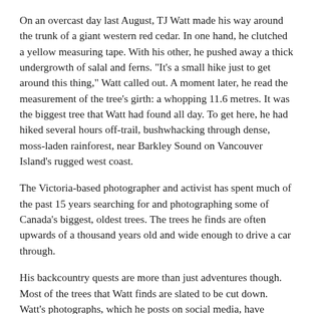On an overcast day last August, TJ Watt made his way around the trunk of a giant western red cedar. In one hand, he clutched a yellow measuring tape. With his other, he pushed away a thick undergrowth of salal and ferns. "It's a small hike just to get around this thing," Watt called out. A moment later, he read the measurement of the tree's girth: a whopping 11.6 metres. It was the biggest tree that Watt had found all day. To get here, he had hiked several hours off-trail, bushwhacking through dense, moss-laden rainforest, near Barkley Sound on Vancouver Island's rugged west coast.
The Victoria-based photographer and activist has spent much of the past 15 years searching for and photographing some of Canada's biggest, oldest trees. The trees he finds are often upwards of a thousand years old and wide enough to drive a car through.
His backcountry quests are more than just adventures though. Most of the trees that Watt finds are slated to be cut down. Watt's photographs, which he posts on social media, have become a powerful tool for ramping up public support to protect B.C.'s old-growth forests.